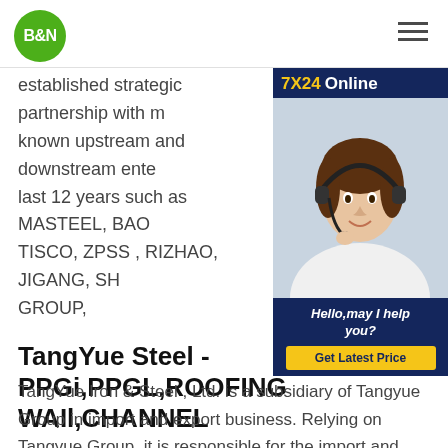[Figure (logo): B&N green circle logo]
established strategic partnership with many known upstream and downstream enterprises in the last 12 years such as MASTEEL, BAOSTEEL, TISCO, ZPSS , RIZHAO, JIGANG, SHOUGANG GROUP,
[Figure (photo): 7X24 Online customer service ad with woman wearing headset. Bottom reads: Hello,may I help you? Get Latest Price]
TangYue Steel - PPGi,PPGL,ROOFING WAIl,CHANNEL
TangYue Iron & Steel , Ltd. is a subsidiary of Tangyue Group in import and export business. Relying on Tangyue Group, it is responsible for the import and export business of metal materials. It is